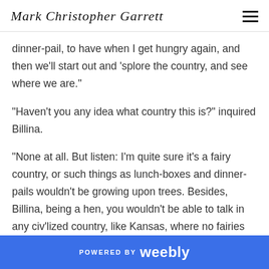Mark Christopher Garrett
dinner-pail, to have when I get hungry again, and then we'll start out and 'splore the country, and see where we are."
"Haven't you any idea what country this is?" inquired Billina.
"None at all. But listen: I'm quite sure it's a fairy country, or such things as lunch-boxes and dinner-pails wouldn't be growing upon trees. Besides, Billina, being a hen, you wouldn't be able to talk in any civ'lized country, like Kansas, where no fairies live at all."
POWERED BY weebly